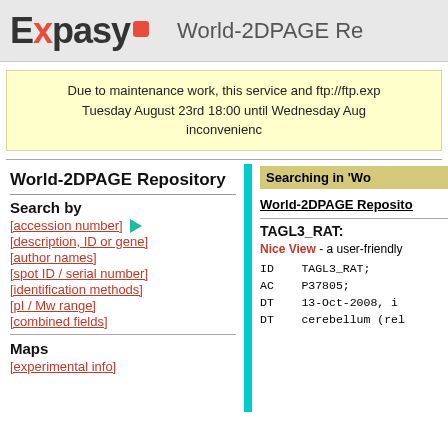Expasy | World-2DPAGE Re
Due to maintenance work, this service and ftp://ftp.exp... Tuesday August 23rd 18:00 until Wednesday Aug... inconvenienc...
World-2DPAGE Repository
Search by
[accession number]
[description, ID or gene]
[author names]
[spot ID / serial number]
[identification methods]
[pI / Mw range]
[combined fields]
Maps
[experimental info]
Searching in 'Wo
World-2DPAGE Reposito
TAGL3_RAT:
Nice View - a user-friendly
ID    TAGL3_RAT;
AC    P37805;
DT    13-Oct-2008, i
DT    cerebellum (rel